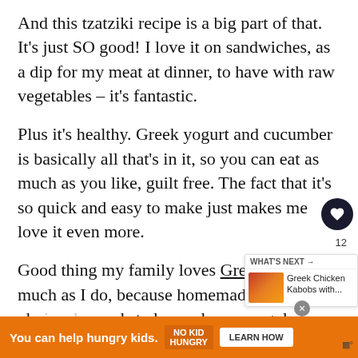And this tzatziki recipe is a big part of that. It’s just SO good! I love it on sandwiches, as a dip for my meat at dinner, to have with raw vegetables – it’s fantastic.
Plus it’s healthy. Greek yogurt and cucumber is basically all that’s in it, so you can eat as much as you like, guilt free. The fact that it’s so quick and easy to make just makes me love it even more.
Good thing my family loves Greek food as much as I do, because homemade tzatziki obviously needs to be made on a regular basis around here!
[Figure (screenshot): Social media sidebar widget showing heart/save button with count 12, share button, and a 'What's Next' recommendation card for 'Greek Chicken Kabobs with...' with a food thumbnail]
[Figure (screenshot): Orange advertisement banner at bottom: 'You can help hungry kids.' with No Kid Hungry logo and 'Learn How' button, plus a close X button]